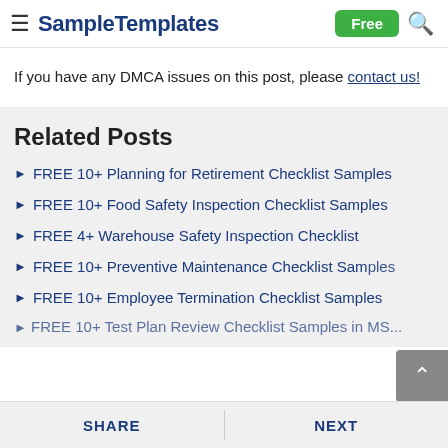SampleTemplates
If you have any DMCA issues on this post, please contact us!
Related Posts
FREE 10+ Planning for Retirement Checklist Samples
FREE 10+ Food Safety Inspection Checklist Samples
FREE 4+ Warehouse Safety Inspection Checklist
FREE 10+ Preventive Maintenance Checklist Samples
FREE 10+ Employee Termination Checklist Samples
FREE 10+ Test Plan Review Checklist Samples in MS...